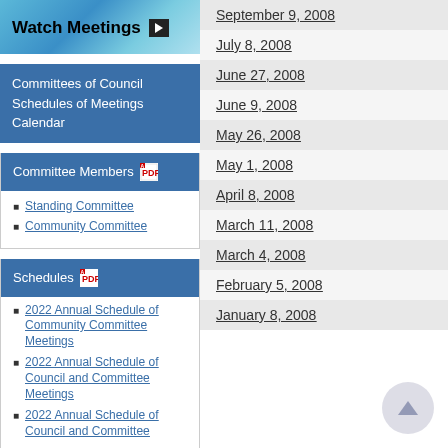[Figure (infographic): Watch Meetings banner with blue gradient background and play button icon]
Committees of Council Schedules of Meetings Calendar
Committee Members
Standing Committee
Community Committee
Schedules
2022 Annual Schedule of Community Committee Meetings
2022 Annual Schedule of Council and Committee Meetings
2022 Annual Schedule of Council and Committee
September 9, 2008
July 8, 2008
June 27, 2008
June 9, 2008
May 26, 2008
May 1, 2008
April 8, 2008
March 11, 2008
March 4, 2008
February 5, 2008
January 8, 2008